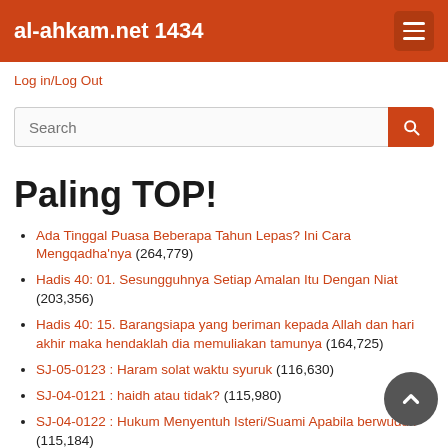al-ahkam.net 1434
Log in/Log Out
[Figure (screenshot): Search input bar with orange search button]
Paling TOP!
Ada Tinggal Puasa Beberapa Tahun Lepas? Ini Cara Mengqadha'nya (264,779)
Hadis 40: 01. Sesungguhnya Setiap Amalan Itu Dengan Niat (203,356)
Hadis 40: 15. Barangsiapa yang beriman kepada Allah dan hari akhir maka hendaklah dia memuliakan tamunya (164,725)
SJ-05-0123 : Haram solat waktu syuruk (116,630)
SJ-04-0121 : haidh atau tidak? (115,980)
SJ-04-0122 : Hukum Menyentuh Isteri/Suami Apabila berwuduk (115,184)